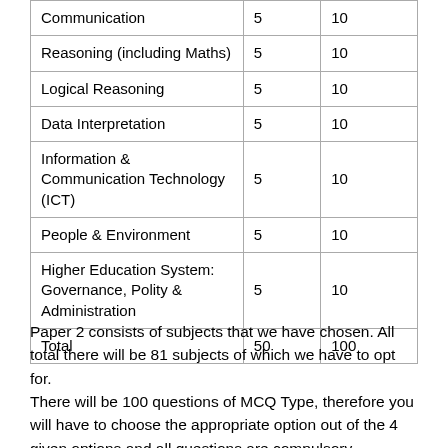|  |  |  |
| --- | --- | --- |
| Communication | 5 | 10 |
| Reasoning (including Maths) | 5 | 10 |
| Logical Reasoning | 5 | 10 |
| Data Interpretation | 5 | 10 |
| Information & Communication Technology (ICT) | 5 | 10 |
| People & Environment | 5 | 10 |
| Higher Education System: Governance, Polity & Administration | 5 | 10 |
| Total | 50 | 100 |
Paper 2 consists of subjects that we have chosen. All total there will be 81 subjects of which we have to opt for.
There will be 100 questions of MCQ Type, therefore you will have to choose the appropriate option out of the 4 given options and all questions are compulsory.